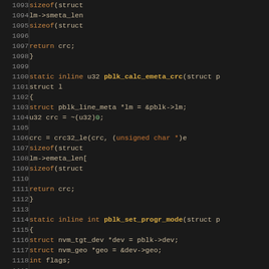[Figure (screenshot): Code editor screenshot showing C source code lines 1093-1122, dark background with syntax highlighting. Contains two static inline functions: pblk_calc_emeta_crc and pblk_set_progr_mode, with keywords in orange, function names in bold orange, type casts in orange, and numeric literals in green.]